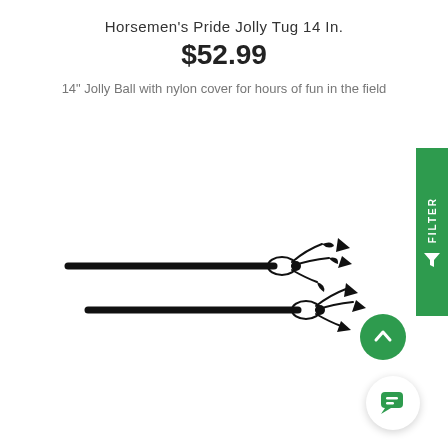Horsemen's Pride Jolly Tug 14 In.
$52.99
14" Jolly Ball with nylon cover for hours of fun in the field
[Figure (illustration): Product illustration showing two Jolly Tug horse toys — long cylindrical tubes with a tied nylon cover at one end, shown from two angles overlapping each other, in black and white line art style.]